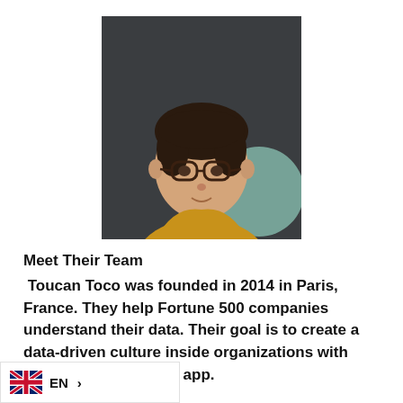[Figure (photo): Headshot of a young man with glasses and dark hair wearing a yellow/mustard t-shirt, against a dark gray background with a teal decorative circle behind him.]
Meet Their Team
Toucan Toco was founded in 2014 in Paris, France. They help Fortune 500 companies understand their data. Their goal is to create a data-driven culture inside organizations with their data storytelling app.
EN >